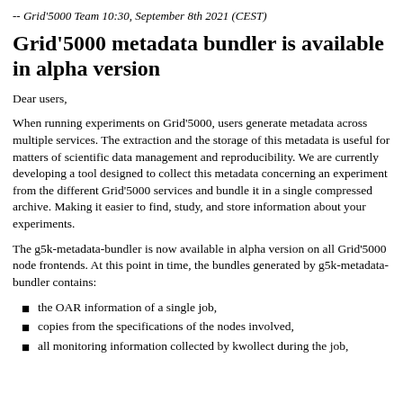-- Grid'5000 Team 10:30, September 8th 2021 (CEST)
Grid'5000 metadata bundler is available in alpha version
Dear users,
When running experiments on Grid'5000, users generate metadata across multiple services. The extraction and the storage of this metadata is useful for matters of scientific data management and reproducibility. We are currently developing a tool designed to collect this metadata concerning an experiment from the different Grid'5000 services and bundle it in a single compressed archive. Making it easier to find, study, and store information about your experiments.
The g5k-metadata-bundler is now available in alpha version on all Grid'5000 node frontends. At this point in time, the bundles generated by g5k-metadata-bundler contains:
the OAR information of a single job,
copies from the specifications of the nodes involved,
all monitoring information collected by kwollect during the job,